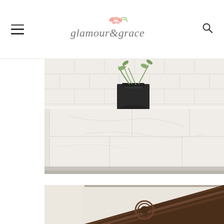glamour & grace
[Figure (photo): White marble fireplace surround with subway tile backsplash and black decorative urn with trailing greenery]
[Figure (photo): Dark walnut wood mantel with ornate carved crown molding detail against cream wall]